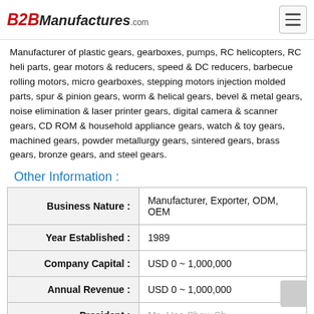B2BManufactures.com
Manufacturer of plastic gears, gearboxes, pumps, RC helicopters, RC heli parts, gear motors & reducers, speed & DC reducers, barbecue rolling motors, micro gearboxes, stepping motors injection molded parts, spur & pinion gears, worm & helical gears, bevel & metal gears, noise elimination & laser printer gears, digital camera & scanner gears, CD ROM & household appliance gears, watch & toy gears, machined gears, powder metallurgy gears, sintered gears, brass gears, bronze gears, and steel gears.
Other Information :
| Field | Value |
| --- | --- |
| Business Nature : | Manufacturer, Exporter, ODM, OEM |
| Year Established : | 1989 |
| Company Capital : | USD 0 ~ 1,000,000 |
| Annual Revenue : | USD 0 ~ 1,000,000 |